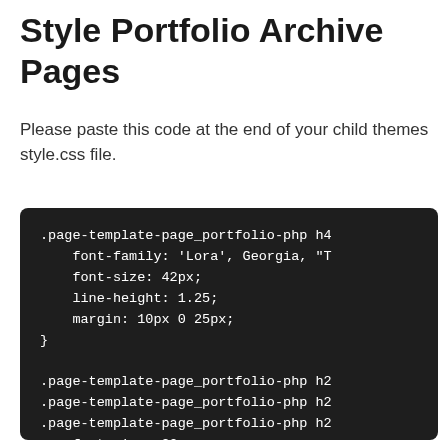Style Portfolio Archive Pages
Please paste this code at the end of your child themes style.css file.
[Figure (screenshot): Dark-background code block showing CSS snippet for .page-template-page_portfolio-php h4 with font-family, font-size, line-height, margin properties, followed by .page-template-page_portfolio-php h2 selectors and font-size: 20px;]